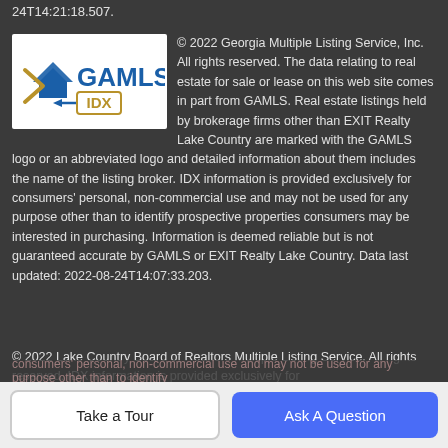24T14:21:18.507.
[Figure (logo): GAMLS IDX logo — blue house/arrow icon with 'GAMLS' in blue bold text and 'IDX' in gold/tan text]
© 2022 Georgia Multiple Listing Service, Inc. All rights reserved. The data relating to real estate for sale or lease on this web site comes in part from GAMLS. Real estate listings held by brokerage firms other than EXIT Realty Lake Country are marked with the GAMLS logo or an abbreviated logo and detailed information about them includes the name of the listing broker. IDX information is provided exclusively for consumers' personal, non-commercial use and may not be used for any purpose other than to identify prospective properties consumers may be interested in purchasing. Information is deemed reliable but is not guaranteed accurate by GAMLS or EXIT Realty Lake Country. Data last updated: 2022-08-24T14:07:33.203.
© 2022 Lake Country Board of Realtors Multiple Listing Service. All rights reserved. IDX information is provided exclusively for consumers' personal, non-commercial use and may not be used for any purpose other than to identify prospective properties consumers may be interested in purchasing.
Take a Tour
Ask A Question